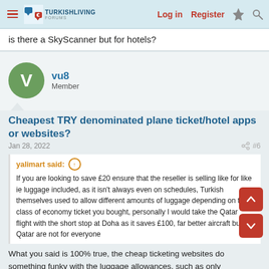TurkishLiving Forums | Log in | Register
is there a SkyScanner but for hotels?
vu8
Member
Cheapest TRY denominated plane ticket/hotel apps or websites?
Jan 28, 2022  #6
yalimart said:
If you are looking to save £20 ensure that the reseller is selling like for like ie luggage included, as it isn't always even on schedules, Turkish themselves used to allow different amounts of luggage depending on the class of economy ticket you bought, personally I would take the Qatar flight with the short stop at Doha as it saves £100, far better aircraft but Qatar are not for everyone
What you said is 100% true, the cheap ticketing websites do something funky with the luggage allowances, such as only